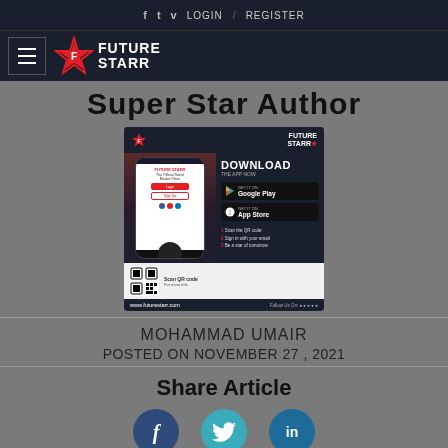f  t  v  LOGIN  /  REGISTER
[Figure (logo): Future Starr logo with hamburger menu and star icon]
Super Star Author
[Figure (infographic): Future Starr app download advertisement with phone mockup, QR code, Google Play and App Store buttons, and website www.futurestarr.com]
MOHAMMAD UMAIR
POSTED ON NOVEMBER 27 , 2021
Share Article
[Figure (infographic): Social share icons: Facebook (f), Twitter (bird), LinkedIn (in)]